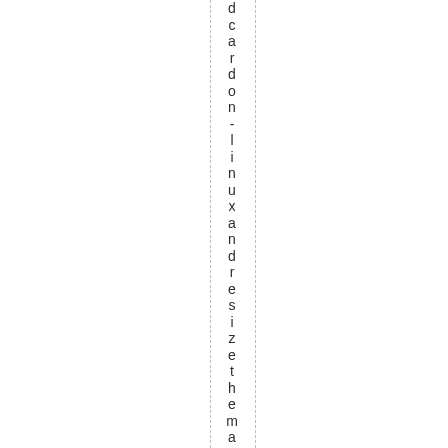dcardon-linux and resize the main pa